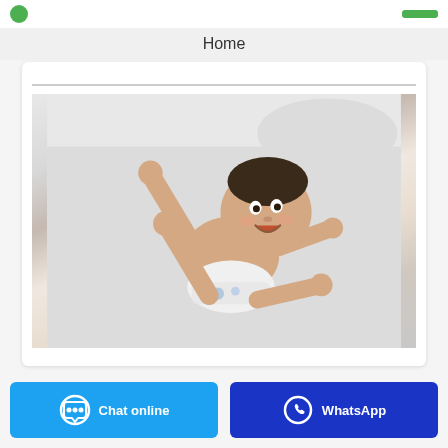Home
[Figure (photo): A happy baby lying on a white bed wearing a diaper, arms and legs raised in the air, smiling]
Chat online
WhatsApp